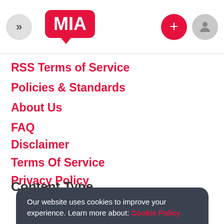MIA navigation header with logo, back button, plus button, and user button
RSS Terms of Service
Policies & Standards
About Us
FAQ
Disclaimer
Terms Of Service
Privacy Policy
Content Type
Our website uses cookies to improve your experience. Learn more about: Cookie Policy
Accept